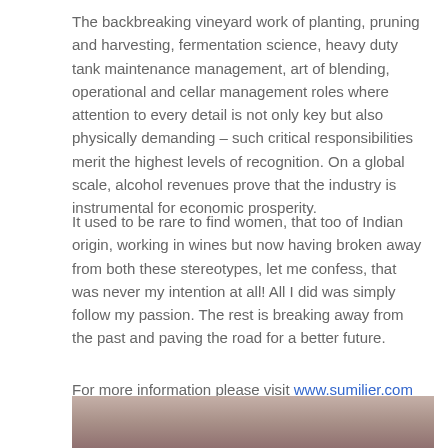The backbreaking vineyard work of planting, pruning and harvesting, fermentation science, heavy duty tank maintenance management, art of blending, operational and cellar management roles where attention to every detail is not only key but also physically demanding – such critical responsibilities merit the highest levels of recognition. On a global scale, alcohol revenues prove that the industry is instrumental for economic prosperity.
It used to be rare to find women, that too of Indian origin, working in wines but now having broken away from both these stereotypes, let me confess, that was never my intention at all! All I did was simply follow my passion. The rest is breaking away from the past and paving the road for a better future.
For more information please visit www.sumilier.com
[Figure (photo): Partial photo of a person, visible from roughly the shoulders up, showing dark hair, cropped at the bottom of the page.]